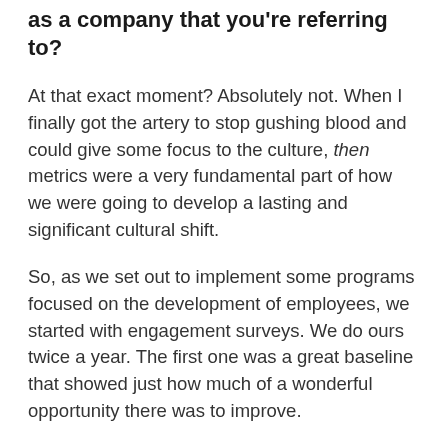as a company that you're referring to?
At that exact moment? Absolutely not. When I finally got the artery to stop gushing blood and could give some focus to the culture, then metrics were a very fundamental part of how we were going to develop a lasting and significant cultural shift.
So, as we set out to implement some programs focused on the development of employees, we started with engagement surveys. We do ours twice a year. The first one was a great baseline that showed just how much of a wonderful opportunity there was to improve.